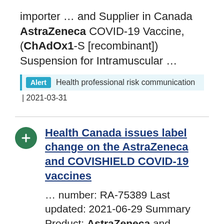importer ... and Supplier in Canada AstraZeneca COVID-19 Vaccine, (ChAdOx1-S [recombinant]) Suspension for Intramuscular ...
Alert  Health professional risk communication
| 2021-03-31
Health Canada issues label change on the AstraZeneca and COVISHIELD COVID-19 vaccines
... number: RA-75389 Last updated: 2021-06-29 Summary Product: AstraZeneca and COVISHIELD COVID-